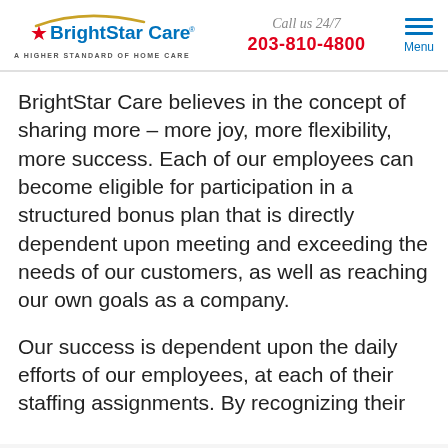[Figure (logo): BrightStar Care logo with red star, blue text, gold arc, and tagline 'A Higher Standard of Home Care']
Call us 24/7
203-810-4800
Menu
BrightStar Care believes in the concept of sharing more – more joy, more flexibility, more success. Each of our employees can become eligible for participation in a structured bonus plan that is directly dependent upon meeting and exceeding the needs of our customers, as well as reaching our own goals as a company.
Our success is dependent upon the daily efforts of our employees, at each of their staffing assignments. By recognizing their